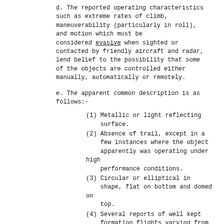d. The reported operating characteristics such as extreme rates of climb, maneuverability (particularly in roll), and motion which must be considered evasive when sighted or contacted by friendly aircraft and radar, lend belief to the possibility that some of the objects are controlled either manually, automatically or remotely.
e. The apparent common description is as follows:-
(1) Metallic or light reflecting surface.
(2) Absence of trail, except in a few instances where the object apparently was operating under high performance conditions.
(3) Circular or elliptical in shape, flat on bottom and domed on top.
(4) Several reports of well kept formation flights varying from three to nine objects.